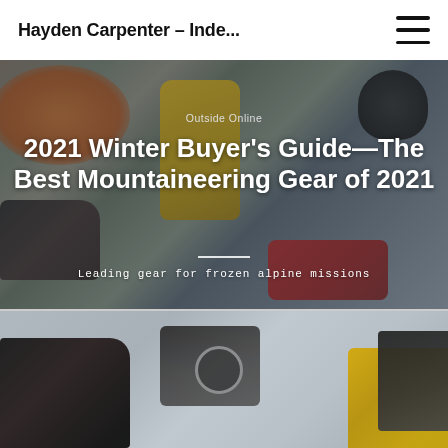Hayden Carpenter – Inde...
[Figure (photo): Flatlay of mountaineering gear including orange rope, yellow duffel bag, climbing boots, red bag, black helmet, and other alpine equipment on a grey background. Text overlays include source label 'Outside Online', article title '2021 Winter Buyer's Guide—The Best Mountaineering Gear of 2021', a horizontal divider, and subtitle 'Leading gear for frozen alpine missions'.]
[Figure (photo): Partial view of mountaineering boots and gear on a light grey/blue background, showing the bottom portion of the page.]